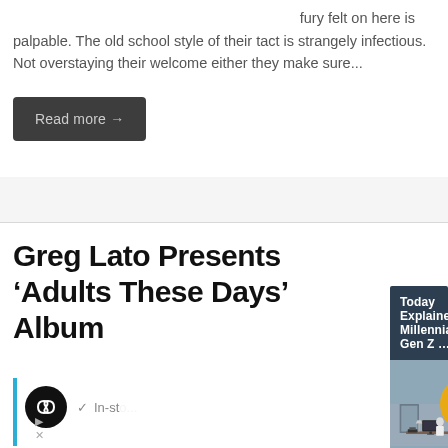fury felt on here is palpable. The old school style of their tact is strangely infectious. Not overstaying their welcome either they make sure...
Read more →
Greg Lato Presents 'Adults These Days' Album
by Skope • August 20...
[Figure (screenshot): Video overlay popup showing 'Today Explained: Millennials, Gen Z ...' with a close button (X), a muted speaker icon button in gold/yellow, and a video thumbnail showing a person sitting at a computer desk in an office environment.]
[Figure (other): Advertisement box with a circular black logo featuring an infinity-like symbol, a checkmark, and 'In-sto...' text, with playback and close icons below.]